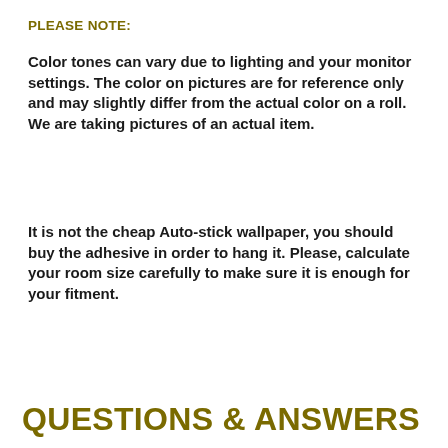PLEASE NOTE:
Color tones can vary due to lighting and your monitor settings. The color on pictures are for reference only and may slightly differ from the actual color on a roll. We are taking pictures of an actual item.
It is not the cheap Auto-stick wallpaper, you should buy the adhesive in order to hang it. Please, calculate your room size carefully to make sure it is enough for your fitment.
QUESTIONS & ANSWERS